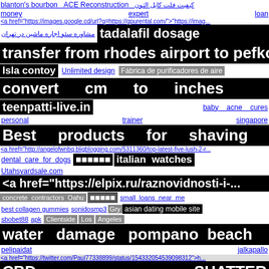blanton's bourbon   ACE Reconstruction   كیفیت فلت كابل التون   money   expert   loan
<a href="https://images.google.cd/url?q=https://gpurental.com/">"https://imag...
مشاوره سئو اجاره ماشین در تهران   tadalafil dosage
transfer from rhodes airport to pefkos
Isla contoy   Unlimited design   Fábrica de purificadores de aire
convert cm to inches
teenpatti-live.in   baby acne cures
personal trainer singapore
Best products for shaving
<a href="http://angelofwnbq.bligblogging.com/5311360/top-latest-five-lush-2-r...
dental care for dogs   ██████   italian watches
Utahsyardsale.com
<a href="https://elpix.ru/raznovidnosti-i-...
concrete contractors Oahu   ██████   small loans near me
best collagen gummies   sonidosmp3   Gry   asian dating mobile site
sbobet88 apk   Clientside   Los Angeles
water damage pompano beach
pelipaidat   jalkapallo
<a href="https://twitter.com/Paul77338899/status/154332054539098312">h...
CBD   SHATTER
<a href="https://twitter.com/JaksonNikola/status/14999745454024...